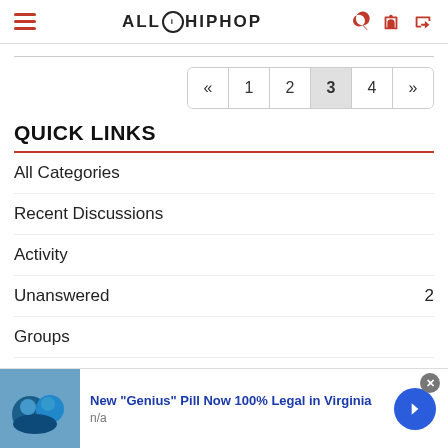AllHipHop
« 1 2 3 4 »
QUICK LINKS
All Categories
Recent Discussions
Activity
Unanswered  2
Groups
Unanswered  2
New "Genius" Pill Now 100% Legal in Virginia
n/a